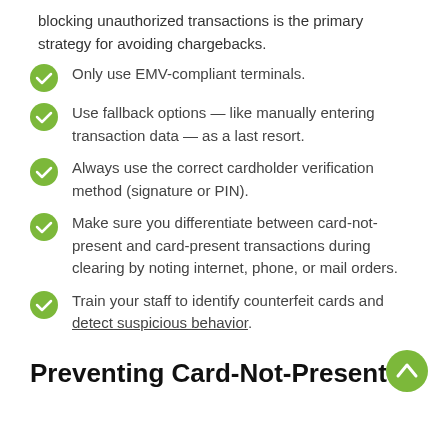blocking unauthorized transactions is the primary strategy for avoiding chargebacks.
Only use EMV-compliant terminals.
Use fallback options — like manually entering transaction data — as a last resort.
Always use the correct cardholder verification method (signature or PIN).
Make sure you differentiate between card-not-present and card-present transactions during clearing by noting internet, phone, or mail orders.
Train your staff to identify counterfeit cards and detect suspicious behavior.
Preventing Card-Not-Present